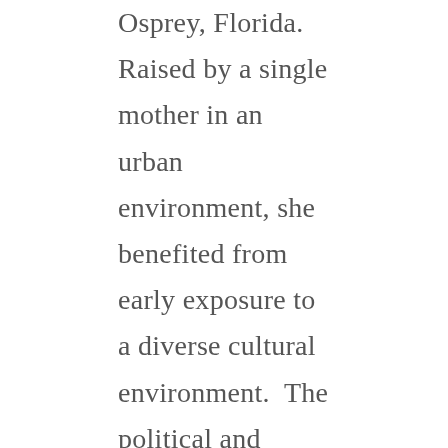Osprey, Florida. Raised by a single mother in an urban environment, she benefited from early exposure to a diverse cultural environment.  The political and socio-economic conditions experienced in childhood were the backdrop and catalyst for her development of resourcefulness, self-reliance and social awareness.  These life-skills fostered a successful business career and now carry her along the road to achieving her artistic goals.

After a 30-year career as CFO/ EVP of a major music publishing company, she currently devotes her time to honing her